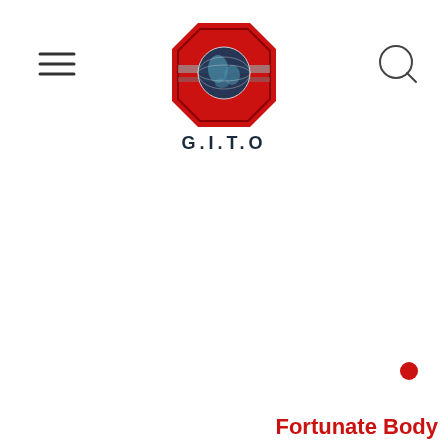[Figure (logo): G.I.T.O logo: red octagon/shield shape with a globe in the center, flanked by horizontal lines, with the text G.I.T.O below in dark serif letters]
[Figure (other): Hamburger menu icon (three horizontal lines) in top left corner]
[Figure (other): Search icon (circle with magnifying glass handle) in top right corner]
[Figure (other): Red filled circle near bottom right]
Fortunate Body